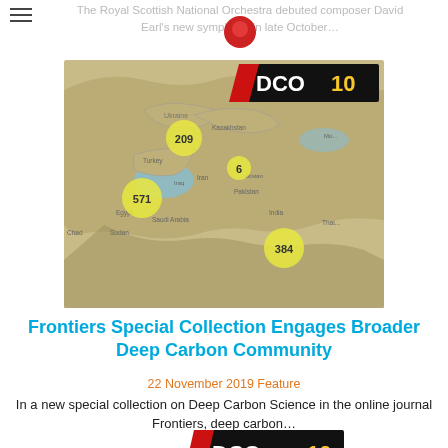The Royal Scottish National Orchestra debuted composer David Earl's new symphony in late October…
[Figure (map): DCO10 branded map showing locations across Europe, Middle East, and Asia with yellow dot markers and numbers: 209, 6, 571, 384]
Frontiers Special Collection Engages Broader Deep Carbon Community
22 November 2019 Feature
In a new special collection on Deep Carbon Science in the online journal Frontiers, deep carbon…
[Figure (illustration): DCO10 branded image showing overlapping colored circles (orange, green, blue, red) with E5R logo in center black circle, with a data/code panel on the right side]